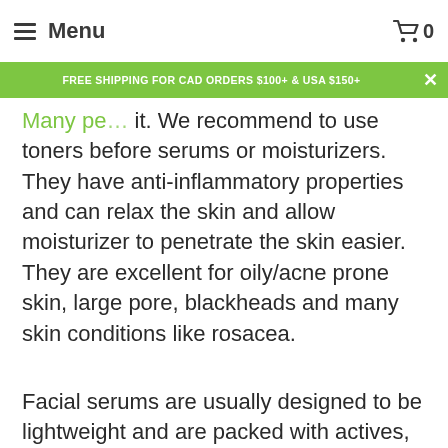Menu | Cart 0
FREE SHIPPING FOR CAD ORDERS $100+ & USA $150+
it. We recommend to use toners before serums or moisturizers. They have anti-inflammatory properties and can relax the skin and allow moisturizer to penetrate the skin easier. They are excellent for oily/acne prone skin, large pore, blackheads and many skin conditions like rosacea.
Facial serums are usually designed to be lightweight and are packed with actives, making them a great choice to apply before anything else. By making sure you use them directly after cleansing, you can ensure that the active compounds